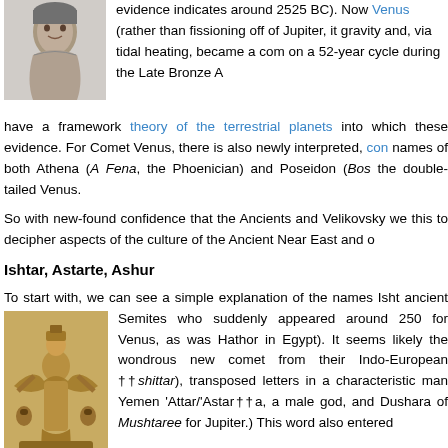[Figure (photo): Black and white portrait photo of a man]
evidence indicates around 2525 BC). Now Venus (rather than fissioning off of Jupiter, it gravity and, via tidal heating, became a com on a 52-year cycle during the Late Bronze A have a framework theory of the terrestrial planets into which these evidence. For Comet Venus, there is also newly interpreted, con names of both Athena (A Fena, the Phoenician) and Poseidon (Bos the double-tailed Venus.
So with new-found confidence that the Ancients and Velikovsky we this to decipher aspects of the culture of the Ancient Near East and o
Ishtar, Astarte, Ashur
To start with, we can see a simple explanation of the names Isht ancient Semites who suddenly appeared around 250 for Venus, as was Hathor in Egypt). It seems likely the wondrous new comet from their Indo-European ††shittar), transposed letters in a characteristic man Yemen 'Attar/'Astar††a, a male god, and Dushara of Mushtaree for Jupiter.) This word also entered
[Figure (photo): Ancient relief sculpture depicting a goddess figure with wings, flanked by owls]
originally A Starre, Venus with. For the celebration of Semit